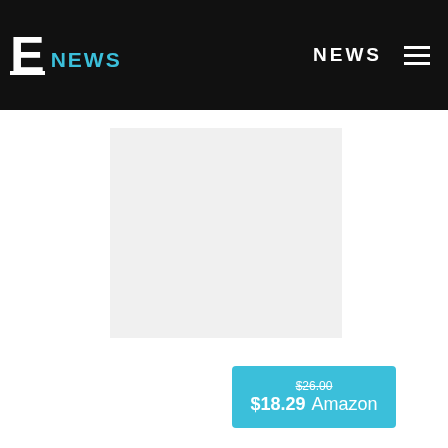E NEWS | NEWS
[Figure (photo): Product image placeholder - light gray rectangle]
$26.00 (strikethrough) $18.29 Amazon